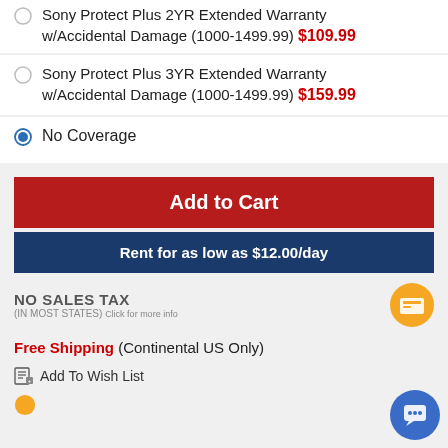Sony Protect Plus 2YR Extended Warranty w/Accidental Damage (1000-1499.99) $109.99
Sony Protect Plus 3YR Extended Warranty w/Accidental Damage (1000-1499.99) $159.99
No Coverage
Add to Cart
Rent for as low as $12.00/day
NO SALES TAX (IN MOST STATES) Click for more info
Free Shipping (Continental US Only)
Add To Wish List